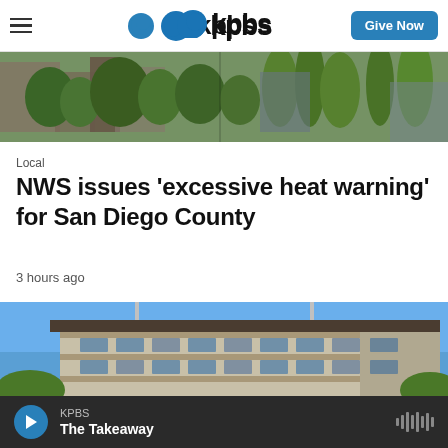kpbs | Give Now
[Figure (photo): Aerial or street-level photo showing trees, buildings and palm trees in San Diego area]
Local
NWS issues 'excessive heat warning' for San Diego County
3 hours ago
[Figure (photo): Photo of a modern multi-story building with flagpoles against a clear blue sky]
KPBS The Takeaway